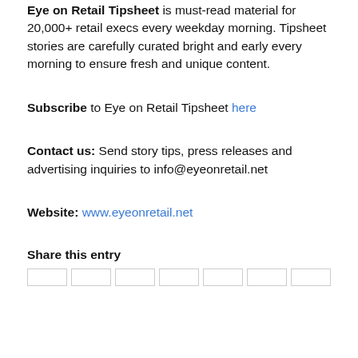Eye on Retail Tipsheet is must-read material for 20,000+ retail execs every weekday morning. Tipsheet stories are carefully curated bright and early every morning to ensure fresh and unique content.
Subscribe to Eye on Retail Tipsheet here
Contact us: Send story tips, press releases and advertising inquiries to info@eyeonretail.net
Website: www.eyeonretail.net
Share this entry